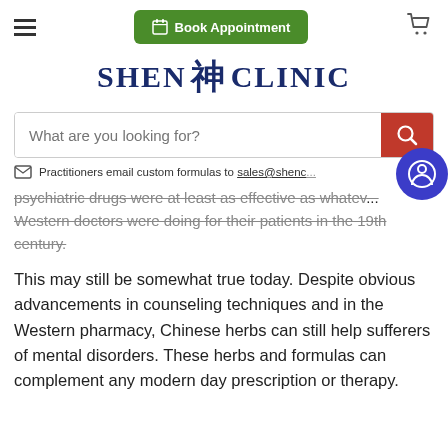Shen Clinic — Book Appointment header navigation
[Figure (logo): Shen Clinic logo with Chinese kanji character between SHEN and CLINIC in dark navy bold serif font]
What are you looking for? (search bar)
Practitioners email custom formulas to sales@shenc...
psychiatric drugs were at least as effective as whatev... Western doctors were doing for their patients in the 19th century.
This may still be somewhat true today. Despite obvious advancements in counseling techniques and in the Western pharmacy, Chinese herbs can still help sufferers of mental disorders. These herbs and formulas can complement any modern day prescription or therapy.